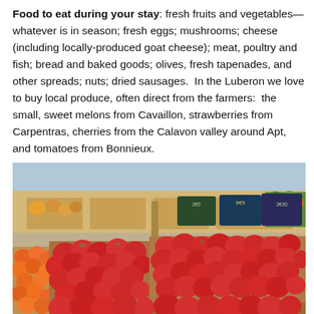Food to eat during your stay: fresh fruits and vegetables—whatever is in season; fresh eggs; mushrooms; cheese (including locally-produced goat cheese); meat, poultry and fish; bread and baked goods; olives, fresh tapenades, and other spreads; nuts; dried sausages.  In the Luberon we love to buy local produce, often direct from the farmers:  the small, sweet melons from Cavaillon, strawberries from Carpentras, cherries from the Calavon valley around Apt, and tomatoes from Bonnieux.
[Figure (photo): Outdoor French market stall showing wooden crates overflowing with fresh red fruits (strawberries, peaches/nectarines), oranges on the left, and various other produce in the background with handwritten price signs in euros on chalkboards.]